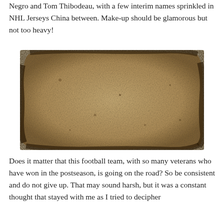Negro and Tom Thibodeau, with a few interim names sprinkled in NHL Jerseys China between. Make-up should be glamorous but not too heavy!
[Figure (photo): A weathered, aged parchment or stone texture with dark edges and mottled brown-beige surface, appearing worn and distressed.]
Does it matter that this football team, with so many veterans who have won in the postseason, is going on the road? So be consistent and do not give up. That may sound harsh, but it was a constant thought that stayed with me as I tried to decipher